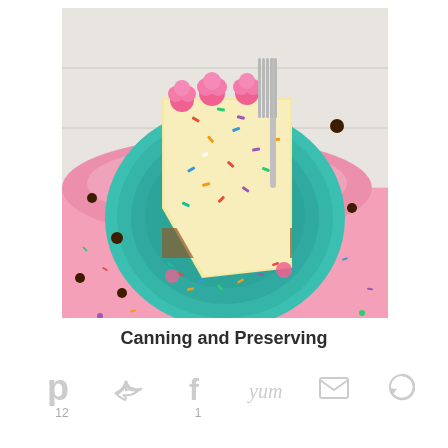[Figure (photo): A slice of funfetti cookie cake with pink frosting rosettes and colorful sprinkles on a teal plate, with a fork, placed on a pink cloth on a light wood surface, with chocolate chips scattered around.]
Canning and Preserving
Social sharing icons: Pinterest (12), Twitter, Facebook (1), Yummly, Email, Print